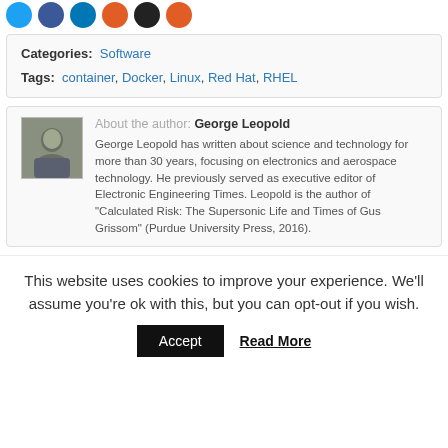[Figure (illustration): Row of colored social media icon circles (blue, blue, blue, orange, black, orange)]
Categories: Software
Tags: container, Docker, Linux, Red Hat, RHEL
About the author: George Leopold
George Leopold has written about science and technology for more than 30 years, focusing on electronics and aerospace technology. He previously served as executive editor of Electronic Engineering Times. Leopold is the author of "Calculated Risk: The Supersonic Life and Times of Gus Grissom" (Purdue University Press, 2016).
This website uses cookies to improve your experience. We'll assume you're ok with this, but you can opt-out if you wish.
Accept   Read More